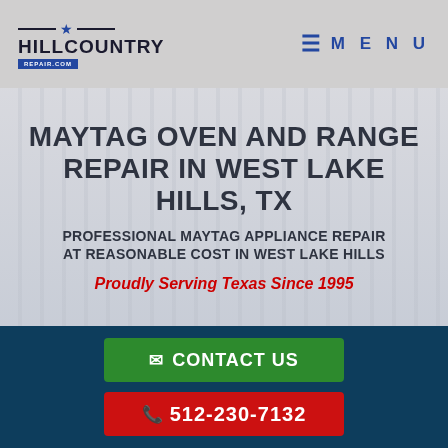[Figure (logo): Hill Country Repair logo with star icon and blue banner]
MENU
MAYTAG OVEN AND RANGE REPAIR IN WEST LAKE HILLS, TX
PROFESSIONAL MAYTAG APPLIANCE REPAIR AT REASONABLE COST IN WEST LAKE HILLS
Proudly Serving Texas Since 1995
CONTACT US
512-230-7132